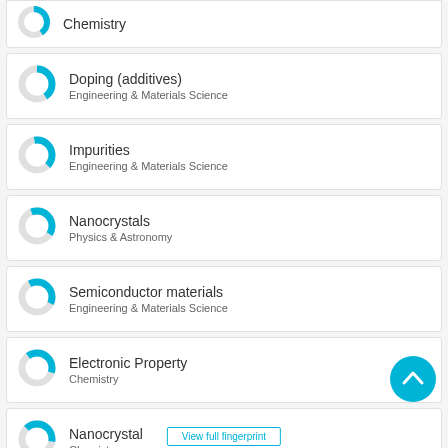Chemistry
Doping (additives)
Engineering & Materials Science
Impurities
Engineering & Materials Science
Nanocrystals
Physics & Astronomy
Semiconductor materials
Engineering & Materials Science
Electronic Property
Chemistry
Nanocrystal
Chemistry